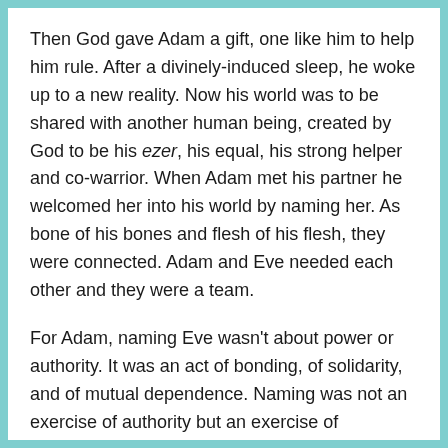Then God gave Adam a gift, one like him to help him rule. After a divinely-induced sleep, he woke up to a new reality. Now his world was to be shared with another human being, created by God to be his ezer, his equal, his strong helper and co-warrior. When Adam met his partner he welcomed her into his world by naming her. As bone of his bones and flesh of his flesh, they were connected. Adam and Eve needed each other and they were a team.
For Adam, naming Eve wasn't about power or authority. It was an act of bonding, of solidarity, and of mutual dependence. Naming was not an exercise of authority but an exercise of attachment. So as we read the stories of the Bible we need to recognize any western cultural values